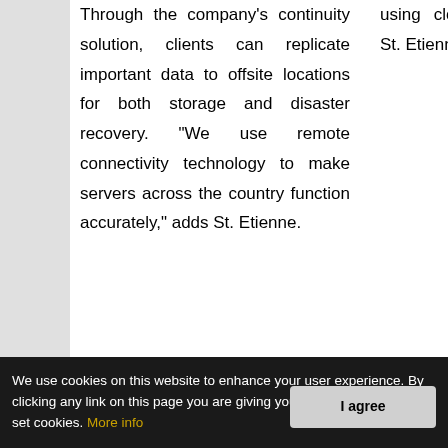Through the company's continuity solution, clients can replicate important data to offsite locations for both storage and disaster recovery. "We use remote connectivity technology to make servers across the country function accurately," adds St. Etienne.
using cloud services," concludes St. Etienne.
Copyright © 2022 CIOReview. All rights reserved.   Contact
We use cookies on this website to enhance your user experience. By clicking any link on this page you are giving your consent to set cookies. More info